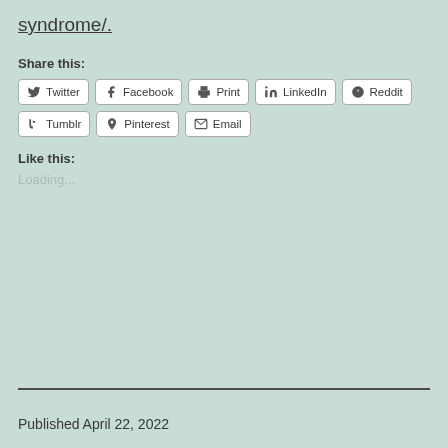syndrome/.
Share this:
Twitter Facebook Print LinkedIn Reddit Tumblr Pinterest Email
Like this:
Loading...
Published April 22, 2022